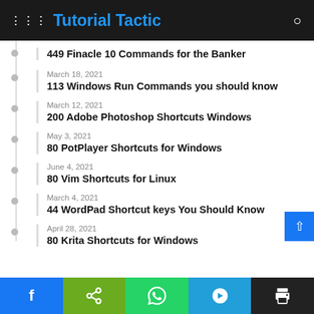Tutorial Tactic
449 Finacle 10 Commands for the Banker
March 18, 2021 – 113 Windows Run Commands you should know
March 12, 2021 – 200 Adobe Photoshop Shortcuts Windows
May 3, 2021 – 80 PotPlayer Shortcuts for Windows
June 4, 2021 – 80 Vim Shortcuts for Linux
March 4, 2021 – 44 WordPad Shortcut keys You Should Know
April 28, 2021 – 80 Krita Shortcuts for Windows
Facebook | Share | WhatsApp | Telegram | Print